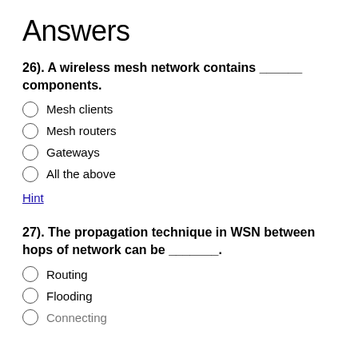Answers
26). A wireless mesh network contains _____ components.
Mesh clients
Mesh routers
Gateways
All the above
Hint
27). The propagation technique in WSN between hops of network can be _______.
Routing
Flooding
Connecting